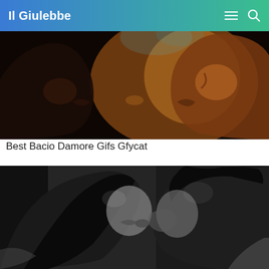Il Giulebbe
[Figure (photo): Close-up of two faces about to kiss, warm dark tones with a smoky amber background]
Best Bacio Damore Gifs Gfycat
[Figure (photo): Black and white photo of a couple kissing passionately]